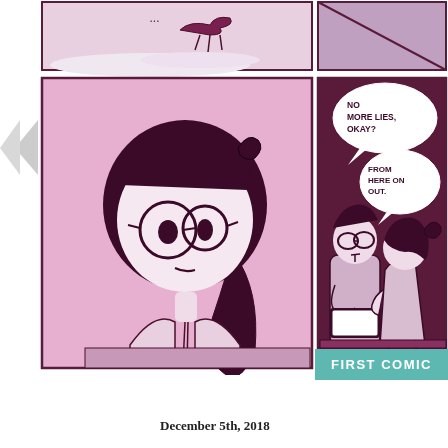[Figure (illustration): Comic strip page with two rows of panels. Top row: partial panels showing a snowy outdoor scene with a figure. Bottom row left: large close-up panel of a girl character with round glasses and cat ears hair accessory against a pink background. Bottom row right: two characters (a tall person with glasses and a shorter girl with cat ears) sitting and talking, dark maroon background, speech bubbles reading 'NO MORE LIES, OKAY?' and 'FROM HERE ON OUT.']
FIRST COMIC
December 5th, 2018